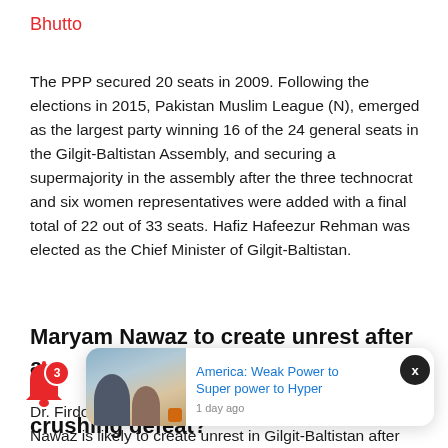Bhutto
The PPP secured 20 seats in 2009. Following the elections in 2015, Pakistan Muslim League (N), emerged as the largest party winning 16 of the 24 general seats in the Gilgit-Baltistan Assembly, and securing a supermajority in the assembly after the three technocrat and six women representatives were added with a final total of 22 out of 33 seats. Hafiz Hafeezur Rehman was elected as the Chief Minister of Gilgit-Baltistan.
Maryam Nawaz to create unrest after a crushing defeat?
Dr. Firdous Ashi... ial assistan... im League-Nawaz's (PML-N) Vice President Maryam Nawaz is likely to create unrest in Gilgit-Baltistan after losing
[Figure (screenshot): Notification popup card showing a news article thumbnail with two people and a map background, titled 'America: Weak Power to Super power to Hyper', timestamped '1 day ago'. A bell notification icon with badge showing '3' notifications is visible on the left.]